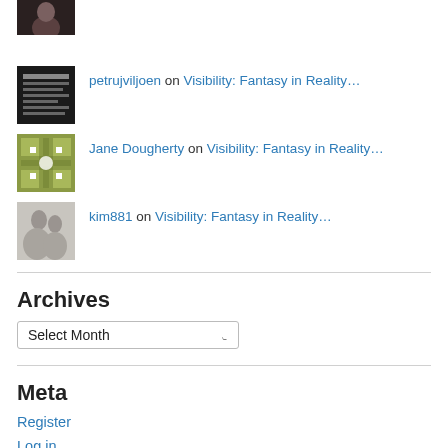[Figure (photo): Dark avatar image of a person]
petrujviljoen on Visibility: Fantasy in Reality…
[Figure (photo): Avatar with text/book cover image]
[Figure (photo): Avatar with green/olive quilt pattern]
Jane Dougherty on Visibility: Fantasy in Reality…
[Figure (photo): Black and white photo avatar of two people]
kim881 on Visibility: Fantasy in Reality…
Archives
Select Month
Meta
Register
Log in